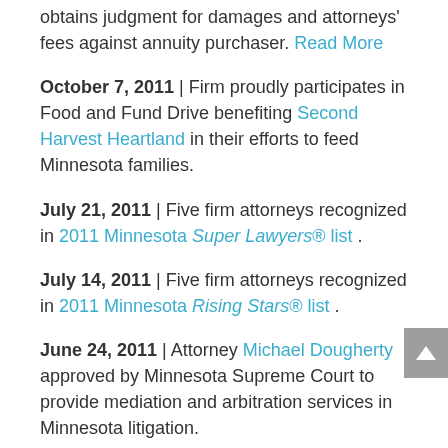obtains judgment for damages and attorneys' fees against annuity purchaser. Read More
October 7, 2011 | Firm proudly participates in Food and Fund Drive benefiting Second Harvest Heartland in their efforts to feed Minnesota families.
July 21, 2011 | Five firm attorneys recognized in 2011 Minnesota Super Lawyers® list.
July 14, 2011 | Five firm attorneys recognized in 2011 Minnesota Rising Stars® list.
June 24, 2011 | Attorney Michael Dougherty approved by Minnesota Supreme Court to provide mediation and arbitration services in Minnesota litigation.
June 21, 2011 | Attorney Loren Solfest named to